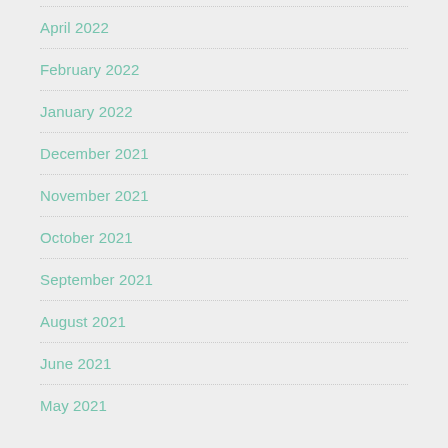April 2022
February 2022
January 2022
December 2021
November 2021
October 2021
September 2021
August 2021
June 2021
May 2021